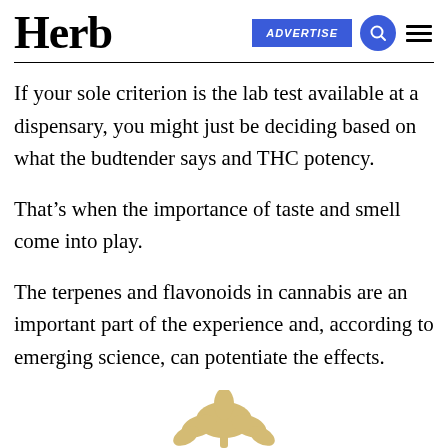Herb | ADVERTISE
If your sole criterion is the lab test available at a dispensary, you might just be deciding based on what the budtender says and THC potency.
That’s when the importance of taste and smell come into play.
The terpenes and flavonoids in cannabis are an important part of the experience and, according to emerging science, can potentiate the effects.
[Figure (photo): Partial view of a cannabis plant/flower at the bottom of the page]